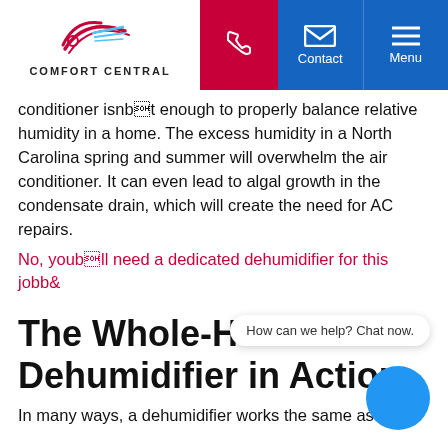Comfort Central — navigation header with logo, phone, contact, menu
conditioner isnb t enough to properly balance relative humidity in a home. The excess humidity in a North Carolina spring and summer will overwhelm the air conditioner. It can even lead to algal growth in the condensate drain, which will create the need for AC repairs.
No, youb ll need a dedicated dehumidifier for this jobb&
The Whole-House Dehumidifier in Action
How can we help? Chat now.
In many ways, a dehumidifier works the same as an